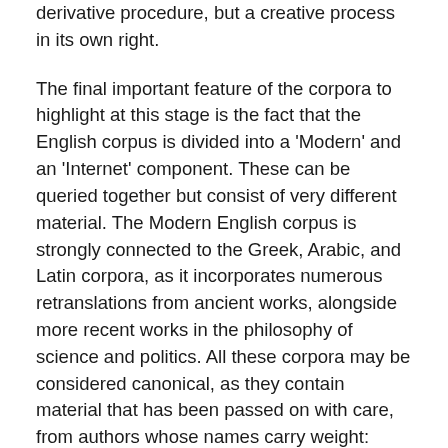derivative procedure, but a creative process in its own right.
The final important feature of the corpora to highlight at this stage is the fact that the English corpus is divided into a 'Modern' and an 'Internet' component. These can be queried together but consist of very different material. The Modern English corpus is strongly connected to the Greek, Arabic, and Latin corpora, as it incorporates numerous retranslations from ancient works, alongside more recent works in the philosophy of science and politics. All these corpora may be considered canonical, as they contain material that has been passed on with care, from authors whose names carry weight: Galen, Averroes, Al-Farabi, Cicero, Aquinas, Marx, and Wittgenstein, for instance, are familiar across many disciplines and cultures. The Internet English corpus is quite different in make-up, as it covers primarily digital-born, alternative media and blog posts, written by little known and sometimes even anonymous authors. These texts are usually shorter, more ephemeral, and more oriented than others included in the